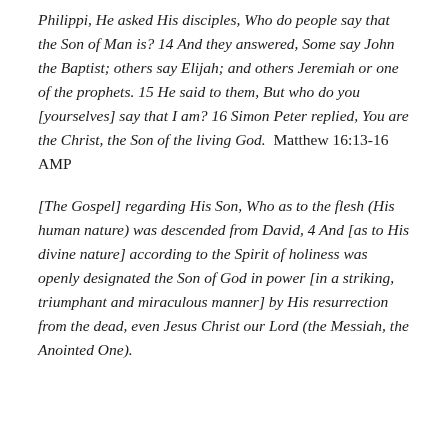Philippi, He asked His disciples, Who do people say that the Son of Man is? 14 And they answered, Some say John the Baptist; others say Elijah; and others Jeremiah or one of the prophets. 15 He said to them, But who do you [yourselves] say that I am? 16 Simon Peter replied, You are the Christ, the Son of the living God.  Matthew 16:13-16 AMP
[The Gospel] regarding His Son, Who as to the flesh (His human nature) was descended from David, 4 And [as to His divine nature] according to the Spirit of holiness was openly designated the Son of God in power [in a striking, triumphant and miraculous manner] by His resurrection from the dead, even Jesus Christ our Lord (the Messiah, the Anointed One).